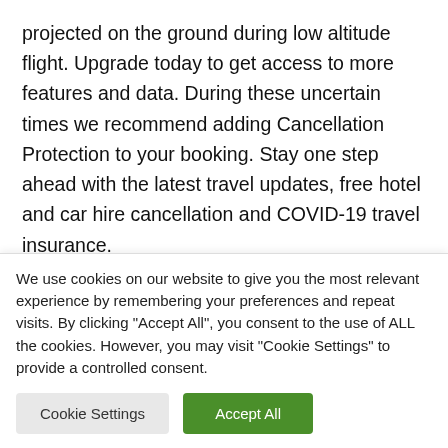projected on the ground during low altitude flight. Upgrade today to get access to more features and data. During these uncertain times we recommend adding Cancellation Protection to your booking. Stay one step ahead with the latest travel updates, free hotel and car hire cancellation and COVID-19 travel insurance.
Book your flights today and spread the cost over time with one of our instalment options. So, if you want a trustworthy site to compare flight prices, you're in the right place.
We use cookies on our website to give you the most relevant experience by remembering your preferences and repeat visits. By clicking "Accept All", you consent to the use of ALL the cookies. However, you may visit "Cookie Settings" to provide a controlled consent.